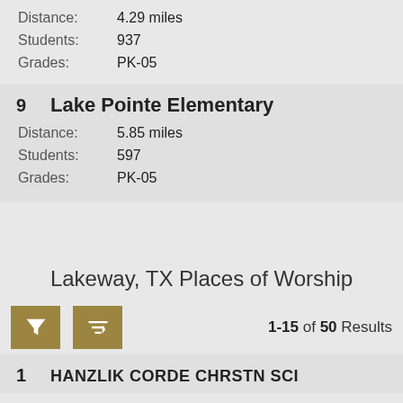Distance: 4.29 miles
Students: 937
Grades: PK-05
9   Lake Pointe Elementary
Distance: 5.85 miles
Students: 597
Grades: PK-05
Lakeway, TX Places of Worship
1-15 of 50 Results
1   HANZLIK CORDE CHRSTN SCI